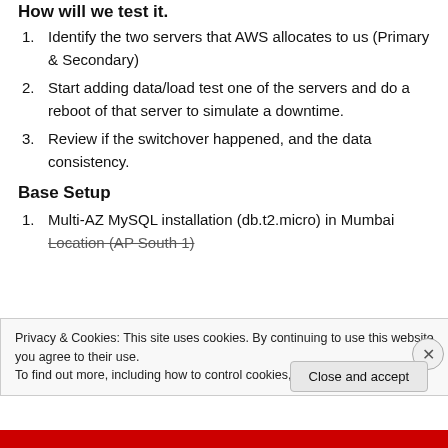How will we test it.
Identify the two servers that AWS allocates to us (Primary & Secondary)
Start adding data/load test one of the servers and do a reboot of that server to simulate a downtime.
Review if the switchover happened, and the data consistency.
Base Setup
Multi-AZ MySQL installation (db.t2.micro) in Mumbai Location (AP South 1)
Privacy & Cookies: This site uses cookies. By continuing to use this website, you agree to their use.
To find out more, including how to control cookies, see here: Cookie Policy